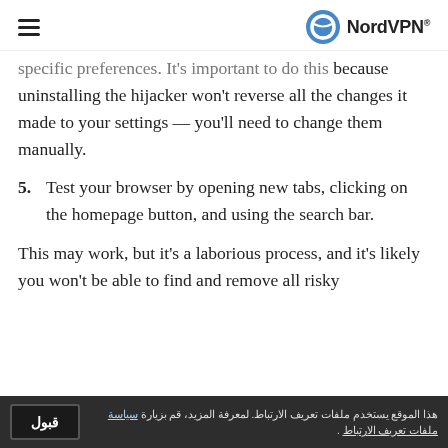NordVPN
specific preferences. It's important to do this because uninstalling the hijacker won't reverse all the changes it made to your settings — you'll need to change them manually.
5. Test your browser by opening new tabs, clicking on the homepage button, and using the search bar.
This may work, but it's a laborious process, and it's likely you won't be able to find and remove all risky
هذا الموقع يستخدم ملفات تعريف الارتباط. لمعرفة المزيد، قم بزيارة سياسة ملفات تعريف الارتباط .